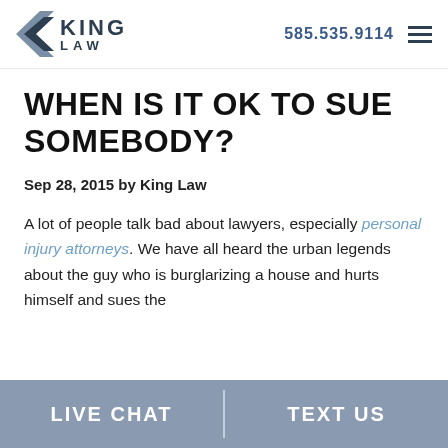King Law | 585.535.9114
WHEN IS IT OK TO SUE SOMEBODY?
Sep 28, 2015 by King Law
A lot of people talk bad about lawyers, especially personal injury attorneys. We have all heard the urban legends about the guy who is burglarizing a house and hurts himself and sues the
LIVE CHAT | TEXT US